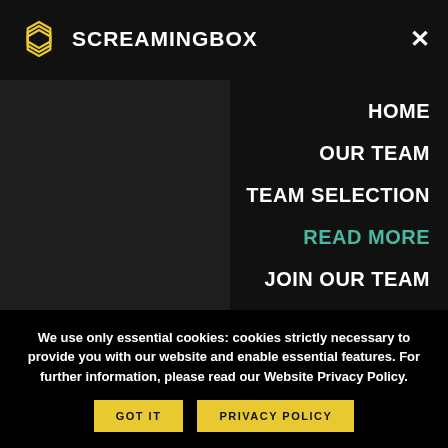Technology and Business Rundown podcast on the... changing your career to become a developer. In addition to the information in that podcast, I have written out this case for changing careers and the top tips to help someone change their careers to become
[Figure (logo): ScreamingBox logo with yellow hexagon layers icon and white uppercase text SCREAMINGBOX on dark background header bar, with X close button on right]
HOME
OUR TEAM
TEAM SELECTION
READ MORE
JOIN OUR TEAM
CONTACT US
TAGS: BECOME A DEVELOPER
We use only essential cookies: cookies strictly necessary to provide you with our website and enable essential features. For further information, please read our Website Privacy Policy.
GOT IT
PRIVACY POLICY